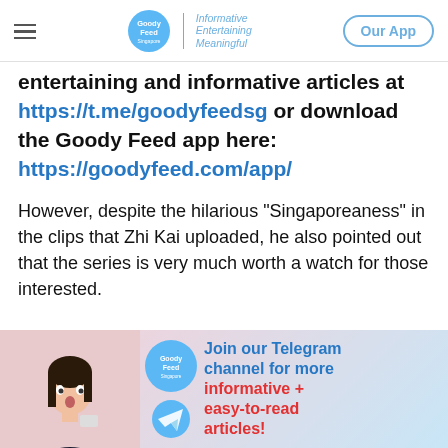Goody Feed — Informative Entertaining Meaningful | Our App
entertaining and informative articles at https://t.me/goodyfeedsg or download the Goody Feed app here: https://goodyfeed.com/app/
However, despite the hilarious “Singaporeaness” in the clips that Zhi Kai uploaded, he also pointed out that the series is very much worth a watch for those interested.
[Figure (infographic): Goody Feed Telegram channel ad banner with a surprised woman, Goody Feed logo, Telegram logo, and text: Join our Telegram channel for more informative + easy-to-read articles!]